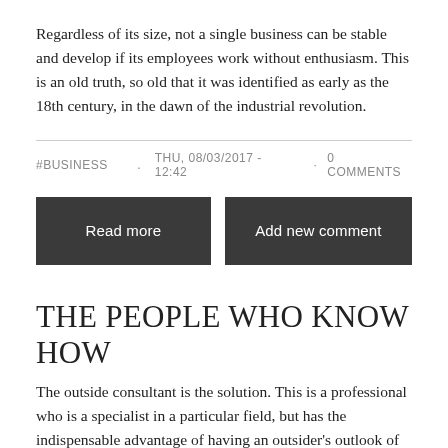Regardless of its size, not a single business can be stable and develop if its employees work without enthusiasm. This is an old truth, so old that it was identified as early as the 18th century, in the dawn of the industrial revolution.
#BUSINESS   .   THU, 08/03/2017 - 12:42  ·  0 COMMENTS
Read more
Add new comment
THE PEOPLE WHO KNOW HOW
The outside consultant is the solution. This is a professional who is a specialist in a particular field, but has the indispensable advantage of having an outsider's outlook of the situation. Thanks to this he is able